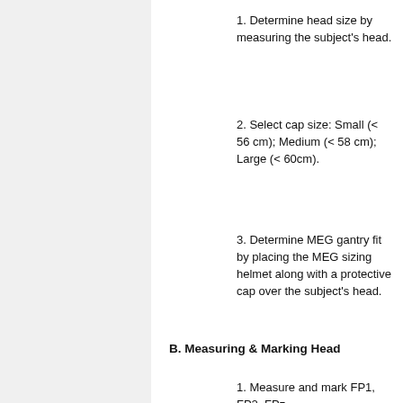1. Determine head size by measuring the subject's head.
2. Select cap size: Small (< 56 cm); Medium (< 58 cm); Large (< 60cm).
3. Determine MEG gantry fit by placing the MEG sizing helmet along with a protective cap over the subject's head.
B. Measuring & Marking Head
1. Measure and mark FP1, FP2, FPz